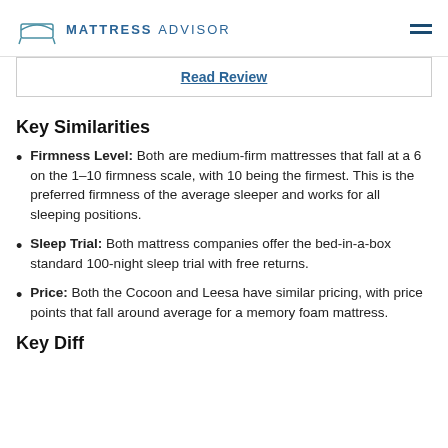MATTRESS ADVISOR
Read Review
Key Similarities
Firmness Level: Both are medium-firm mattresses that fall at a 6 on the 1–10 firmness scale, with 10 being the firmest. This is the preferred firmness of the average sleeper and works for all sleeping positions.
Sleep Trial: Both mattress companies offer the bed-in-a-box standard 100-night sleep trial with free returns.
Price: Both the Cocoon and Leesa have similar pricing, with price points that fall around average for a memory foam mattress.
Key Diff